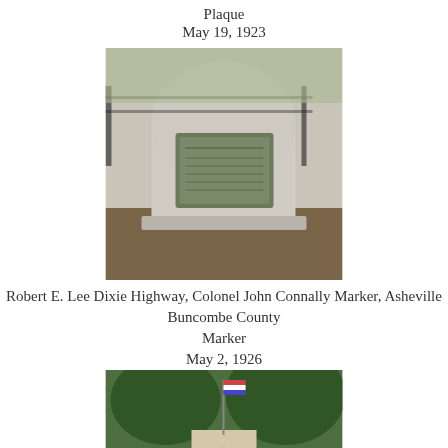Plaque
May 19, 1923
[Figure (photo): Photo of a stone monument with a bronze plaque on its face, set in a landscape with a fence visible in the background.]
Robert E. Lee Dixie Highway, Colonel John Connally Marker, Asheville Buncombe County
Marker
May 2, 1926
[Figure (photo): Photo of a stone arch monument with a flag, surrounded by trees and green grass.]
Trading Ford, Churchland Davidson County
Marker
Oct. 19, 1929